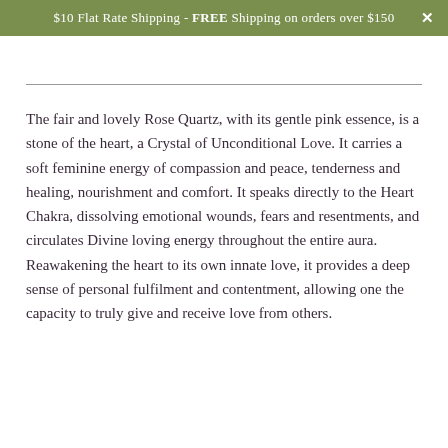$10 Flat Rate Shipping - FREE Shipping on orders over $150 ×
The fair and lovely Rose Quartz, with its gentle pink essence, is a stone of the heart, a Crystal of Unconditional Love. It carries a soft feminine energy of compassion and peace, tenderness and healing, nourishment and comfort. It speaks directly to the Heart Chakra, dissolving emotional wounds, fears and resentments, and circulates Divine loving energy throughout the entire aura. Reawakening the heart to its own innate love, it provides a deep sense of personal fulfilment and contentment, allowing one the capacity to truly give and receive love from others.